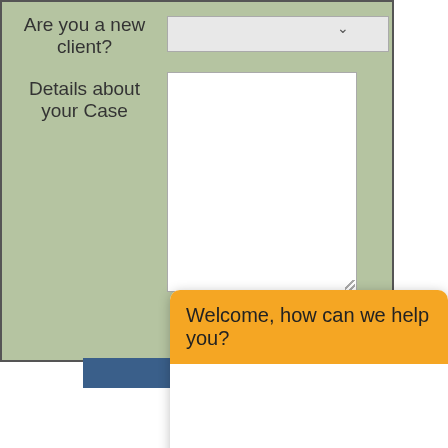Are you a new client?
Details about your Case
[Figure (screenshot): Web form with green background showing fields: 'Are you a new client?' with dropdown, and 'Details about your Case' with a large text area. A blue submit button is partially visible at the bottom. A chat widget overlays the bottom-right with an orange header saying 'Welcome, how can we help you?' and a message input field. A grey X close button is visible.]
Welcome, how can we help you?
Write your message...